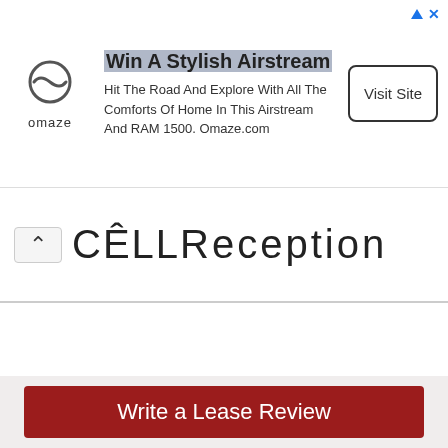[Figure (screenshot): Omaze advertisement banner: Win A Stylish Airstream. Hit The Road And Explore With All The Comforts Of Home In This Airstream And RAM 1500. Omaze.com. Visit Site button.]
CellReception
Write a Lease Review